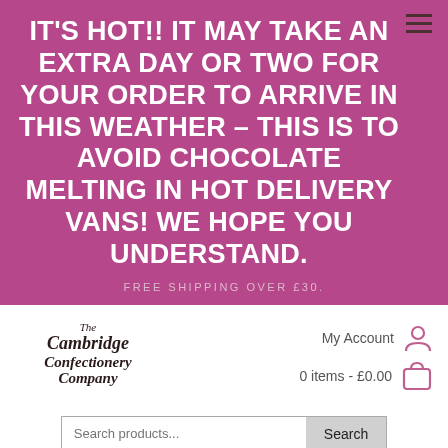IT'S HOT!! IT MAY TAKE AN EXTRA DAY OR TWO FOR YOUR ORDER TO ARRIVE IN THIS WEATHER – THIS IS TO AVOID CHOCOLATE MELTING IN HOT DELIVERY VANS! WE HOPE YOU UNDERSTAND.
FREE SHIPPING OVER £30.
[Figure (logo): The Cambridge Confectionery Company logo in dark script text]
My Account
0 items - £0.00
Search products...
| Description |  |
| --- | --- |
|  |  |
BESTSELLING SELECTION